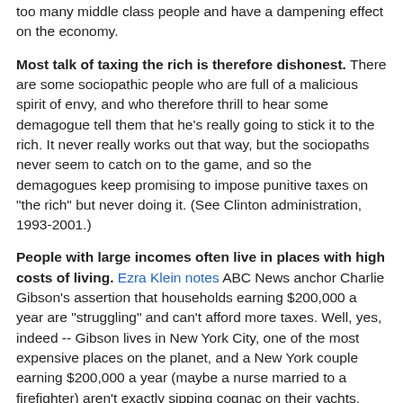too many middle class people and have a dampening effect on the economy.
Most talk of taxing the rich is therefore dishonest. There are some sociopathic people who are full of a malicious spirit of envy, and who therefore thrill to hear some demagogue tell them that he's really going to stick it to the rich. It never really works out that way, but the sociopaths never seem to catch on to the game, and so the demagogues keep promising to impose punitive taxes on "the rich" but never doing it. (See Clinton administration, 1993-2001.)
People with large incomes often live in places with high costs of living. Ezra Klein notes ABC News anchor Charlie Gibson's assertion that households earning $200,000 a year are "struggling" and can't afford more taxes. Well, yes, indeed -- Gibson lives in New York City, one of the most expensive places on the planet, and a New York couple earning $200,000 a year (maybe a nurse married to a firefighter) aren't exactly sipping cognac on their yachts, lighting their cigars with $20 bills, and feeding caviar to their poodles.